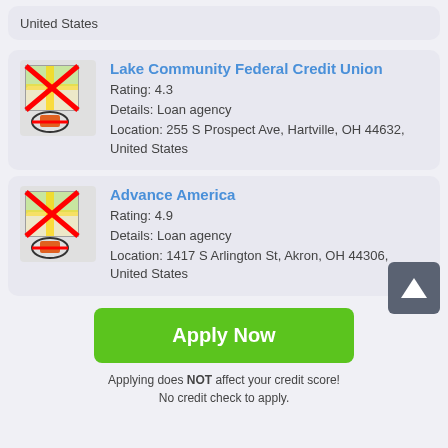United States
Lake Community Federal Credit Union
Rating: 4.3
Details: Loan agency
Location: 255 S Prospect Ave, Hartville, OH 44632, United States
Advance America
Rating: 4.9
Details: Loan agency
Location: 1417 S Arlington St, Akron, OH 44306, United States
Apply Now
Applying does NOT affect your credit score!
No credit check to apply.